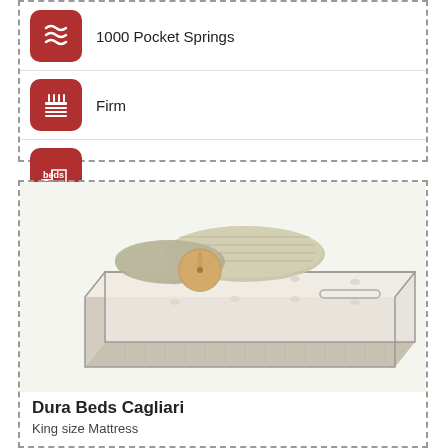[Figure (illustration): Red rounded square icon with spring/coil symbol representing 1000 Pocket Springs]
1000 Pocket Springs
[Figure (illustration): Red rounded square icon with horizontal lines and candle-like shapes representing Firm mattress type]
Firm
[Figure (logo): Red rounded square icon with 'beds' text branding logo]
[Figure (photo): Photo of a white/cream pocket spring mattress with decorative pillows on top, shown at an angle. The mattress is the Dura Beds Cagliari model.]
Dura Beds Cagliari
King size Mattress